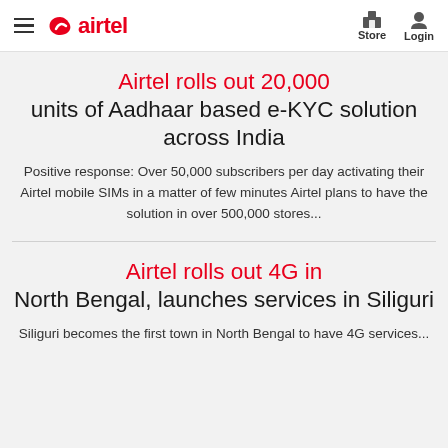airtel — Store, Login
Airtel rolls out 20,000 units of Aadhaar based e-KYC solution across India
Positive response: Over 50,000 subscribers per day activating their Airtel mobile SIMs in a matter of few minutes Airtel plans to have the solution in over 500,000 stores...
Airtel rolls out 4G in North Bengal, launches services in Siliguri
Siliguri becomes the first town in North Bengal to have 4G services...